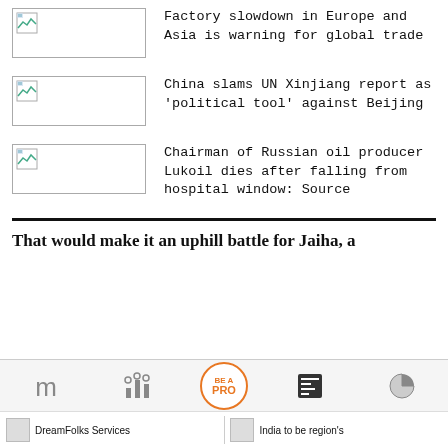[Figure (photo): Thumbnail image placeholder for news article 1]
Factory slowdown in Europe and Asia is warning for global trade
[Figure (photo): Thumbnail image placeholder for news article 2]
China slams UN Xinjiang report as 'political tool' against Beijing
[Figure (photo): Thumbnail image placeholder for news article 3]
Chairman of Russian oil producer Lukoil dies after falling from hospital window: Source
That would make it an uphill battle for Jaiha, a
DreamFolks Services | India to be region's